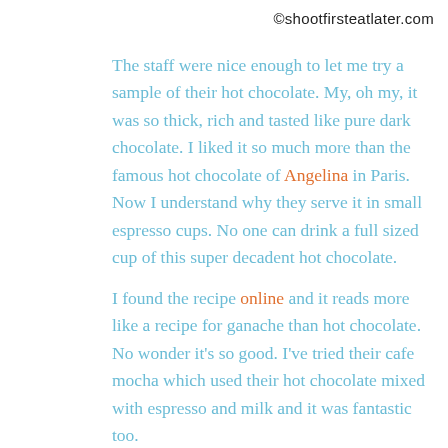©shootfirsteatlater.com
The staff were nice enough to let me try a sample of their hot chocolate. My, oh my, it was so thick, rich and tasted like pure dark chocolate. I liked it so much more than the famous hot chocolate of Angelina in Paris. Now I understand why they serve it in small espresso cups. No one can drink a full sized cup of this super decadent hot chocolate.
I found the recipe online and it reads more like a recipe for ganache than hot chocolate. No wonder it's so good. I've tried their cafe mocha which used their hot chocolate mixed with espresso and milk and it was fantastic too.